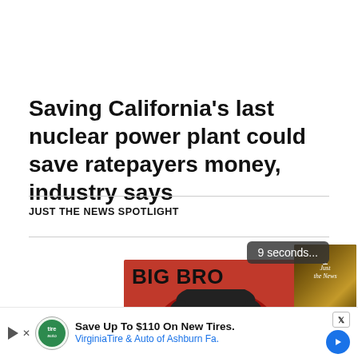Saving California's last nuclear power plant could save ratepayers money, industry says
JUST THE NEWS SPOTLIGHT
[Figure (screenshot): Countdown badge showing '9 seconds...' over media content area with Big Brother themed red image on left and Just the News video player on right with playback controls]
[Figure (screenshot): Advertisement bar at bottom: Virginia Tire & Auto of Ashburn Fa. Save Up To $110 On New Tires]